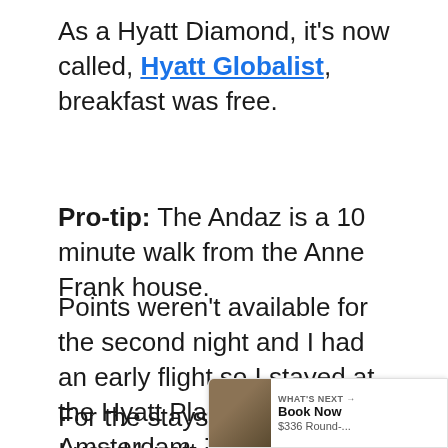As a Hyatt Diamond, it's now called, Hyatt Globalist, breakfast was free.
Pro-tip: The Andaz is a 10 minute walk from the Anne Frank house.
Points weren't available for the second night and I had an early flight so I stayed at the Hyatt Place Amsterdam. The hotel was cheap, $109 a night so I paid cash.
For the stays at Hyatt hotels, I used Hyatt points from the World of Hyatt credit card and Chase Ultimate Rewards points from the